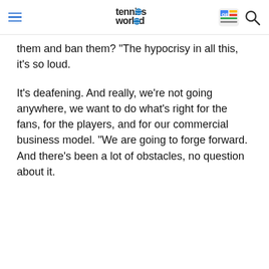Tennis World
them and ban them? "The hypocrisy in all this, it's so loud.
It's deafening. And really, we're not going anywhere, we want to do what's right for the fans, for the players, and for our commercial business model. "We are going to forge forward. And there's been a lot of obstacles, no question about it.